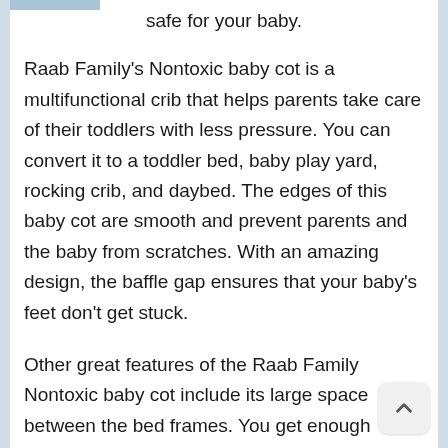safe for your baby.
Raab Family's Nontoxic baby cot is a multifunctional crib that helps parents take care of their toddlers with less pressure. You can convert it to a toddler bed, baby play yard, rocking crib, and daybed. The edges of this baby cot are smooth and prevent parents and the baby from scratches. With an amazing design, the baffle gap ensures that your baby's feet don't get stuck.
Other great features of the Raab Family Nontoxic baby cot include its large space between the bed frames. You get enough space to store baby books, clothes, toys, and